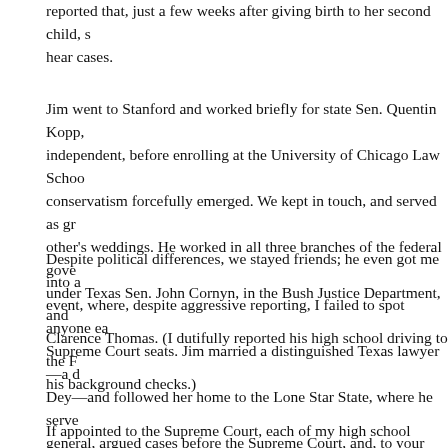reported that, just a few weeks after giving birth to her second child, s hear cases.
Jim went to Stanford and worked briefly for state Sen. Quentin Kopp, independent, before enrolling at the University of Chicago Law Schoo conservatism forcefully emerged. We kept in touch, and served as gr other's weddings. He worked in all three branches of the federal gove under Texas Sen. John Cornyn, in the Bush Justice Department, and Clarence Thomas. (I dutifully reported his high school driving to the F his background checks.)
Despite political differences, we stayed friends; he even got me into a event, where, despite aggressive reporting, I failed to spot anyone ea Supreme Court seats. Jim married a distinguished Texas lawyer—a d Dey—and followed her home to the Lone Star State, where he serve general, argued cases before the Supreme Court, and, to your colum his Southern California roots from official bios. The support of Sen. Te Jim's predecessor as Texas solicitor general, was crucial to Jim's app bench three years ago
If appointed to the Supreme Court, each of my high school newspape